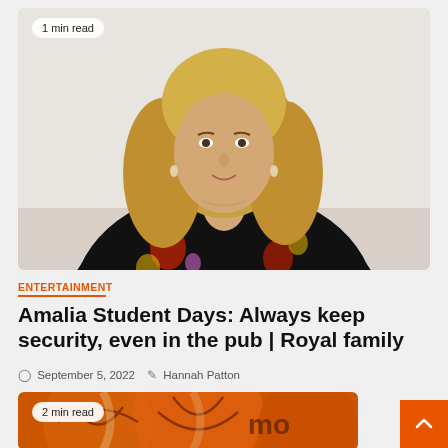[Figure (photo): Portrait photo of a young blonde woman wearing a black floral dress, smiling, with a badge overlay reading '1 min read']
ENTERTAINMENT
Amalia Student Days: Always keep security, even in the pub | Royal family
September 5, 2022  Hannah Patton
[Figure (photo): Close-up photo of orange basketballs with a badge overlay reading '2 min read']